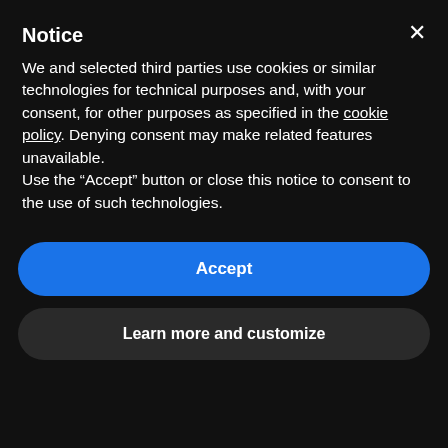GET AND INSTALL YOUR SOFTWARE IN 3 EASY AND FAST STEPS
more than 350.000 satisfied worldwide customers in 18 years
[Figure (illustration): Orange line-art illustration of a hand holding a credit card]
Notice
We and selected third parties use cookies or similar technologies for technical purposes and, with your consent, for other purposes as specified in the cookie policy. Denying consent may make related features unavailable.
Use the "Accept" button or close this notice to consent to the use of such technologies.
Accept
Learn more and customize